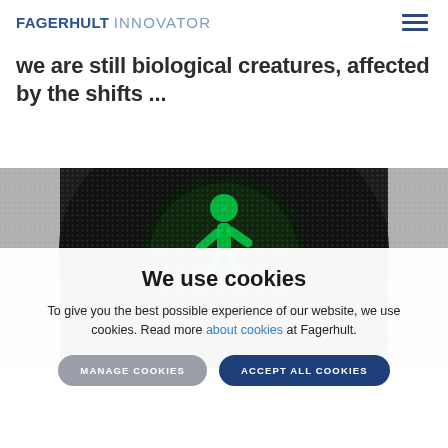FAGERHULT INNOVATOR
we are still biological creatures, affected by the shifts ...
[Figure (photo): Close-up photo of a green pedestrian traffic light signal showing the illuminated walking figure icon on a dark background]
We use cookies
To give you the best possible experience of our website, we use cookies. Read more about cookies at Fagerhult.
MANAGE COOKIES
ACCEPT ALL COOKIES